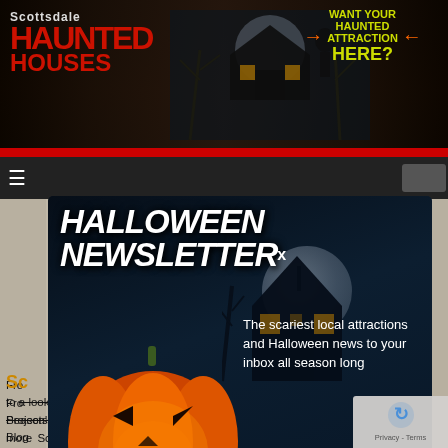[Figure (screenshot): Scottsdale Haunted Houses website header banner with logo and advertisement]
HALLOWEEN NEWSLETTER×
The scariest local attractions and Halloween news to your inbox all season long
• Arizona Edition •
[your email]   Join
Sc
From   ts, to a look into this Halloween Season's Hottest Trends, Festive DIY Projects, Scary Movies, and more ScottsdaleHauntedHouses.com's Blog covers more than just haunted houses! If you love all things Ha year long, then you've come to the right place - check out our p and stay in the know about the best local Halloween fun ha Scottsdale 365 days a year!